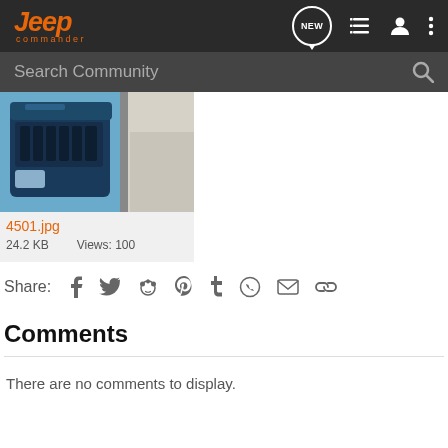Jeep commander
Search Community
[Figure (photo): Partial view of a blue Jeep Commander vehicle close-up photo]
4501.jpg
24.2 KB   Views: 100
Share:
Comments
There are no comments to display.